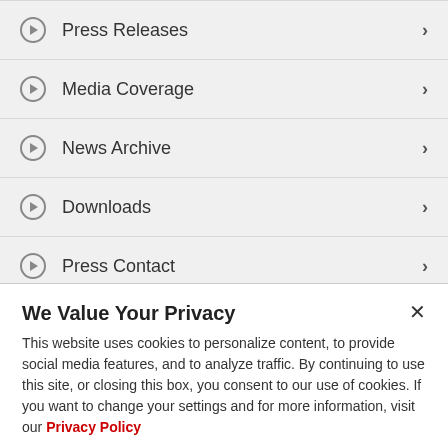Press Releases
Media Coverage
News Archive
Downloads
Press Contact
Key Topics
We Value Your Privacy
This website uses cookies to personalize content, to provide social media features, and to analyze traffic. By continuing to use this site, or closing this box, you consent to our use of cookies. If you want to change your settings and for more information, visit our Privacy Policy